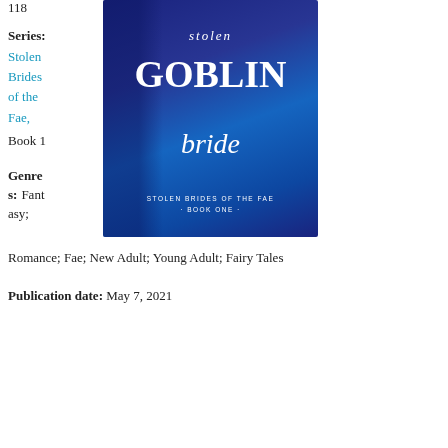118
Series: Stolen Brides of the Fae, Book 1
[Figure (illustration): Book cover for 'Stolen Goblin Bride' - Stolen Brides of the Fae, Book One. Dark blue background with a woman with long blonde hair and a dark-cloaked figure behind her. White decorative text reads 'stolen GOBLIN bride'.]
Genres: Fantasy; Romance; Fae; New Adult; Young Adult; Fairy Tales
Publication date: May 7, 2021